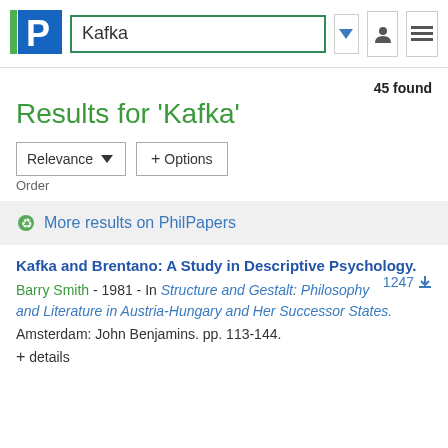[Figure (logo): PhilPapers logo — blue P in a square with green bar on left]
Kafka
45 found
Results for 'Kafka'
Relevance
+ Options
Order
More results on PhilPapers
Kafka and Brentano: A Study in Descriptive Psychology.
1247
Barry Smith - 1981 - In Structure and Gestalt: Philosophy and Literature in Austria-Hungary and Her Successor States. Amsterdam: John Benjamins. pp. 113-144.
+ details